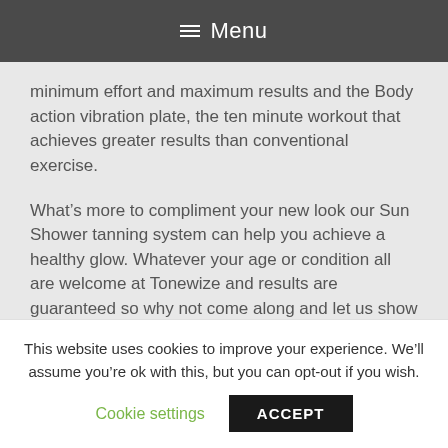Menu
minimum effort and maximum results and the Body action vibration plate, the ten minute workout that achieves greater results than conventional exercise.
What’s more to compliment your new look our Sun Shower tanning system can help you achieve a healthy glow. Whatever your age or condition all are welcome at Tonewize and results are guaranteed so why not come along and let us show you how to achieve the figure and fitness you deserve in a friendly and relaxing atmosphere.
This website uses cookies to improve your experience. We’ll assume you’re ok with this, but you can opt-out if you wish.
Cookie settings
ACCEPT